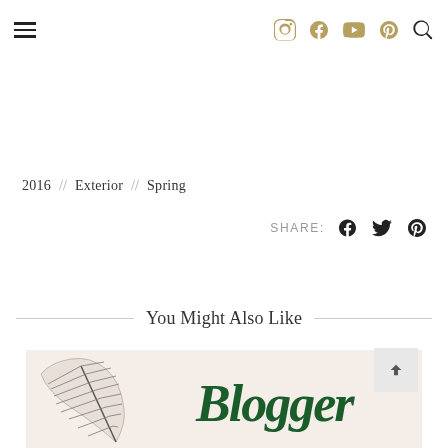Navigation header with hamburger menu and social icons (Instagram, Facebook, YouTube, Pinterest, Search)
2016 // Exterior // Spring
SHARE:
You Might Also Like
[Figure (illustration): Blogger badge image showing a feather illustration on the left and the word 'Blogger' in green script on a light pink/cream background]